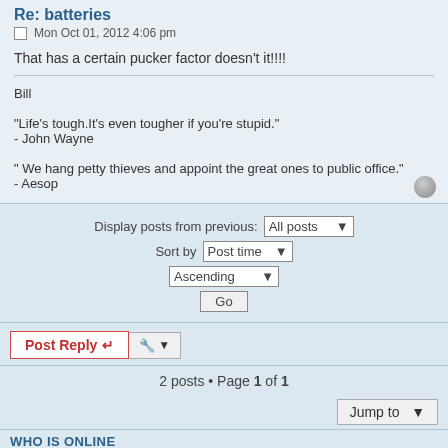Re: batteries
Mon Oct 01, 2012 4:06 pm
That has a certain pucker factor doesn't it!!!!
Bill

"Life's tough.It's even tougher if you're stupid."
- John Wayne

" We hang petty thieves and appoint the great ones to public office."
- Aesop
Display posts from previous: All posts   Sort by Post time   Ascending   Go
Post Reply   2 posts • Page 1 of 1
Jump to
WHO IS ONLINE
Users browsing this forum: No registered users and 0 guests